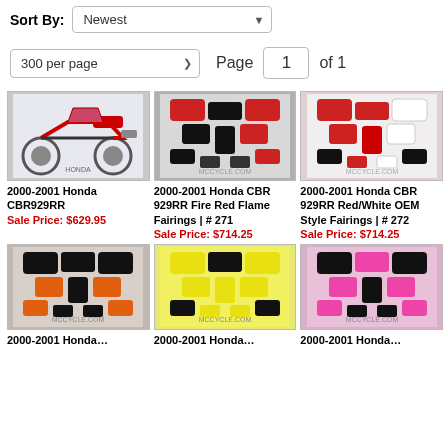Sort By: Newest
300 per page  Page 1 of 1
[Figure (photo): Red/white Honda CBR929RR motorcycle side view]
2000-2001 Honda CBR929RR
Sale Price: $629.95
[Figure (photo): Black Honda CBR 929RR Fire Red Flame fairing set, disassembled parts]
2000-2001 Honda CBR 929RR Fire Red Flame Fairings | # 271
Sale Price: $714.25
[Figure (photo): Red/white Honda CBR 929RR OEM style fairings, disassembled parts]
2000-2001 Honda CBR 929RR Red/White OEM Style Fairings | # 272
Sale Price: $714.25
[Figure (photo): Black/orange Honda CBR fairing set with Repsol-style graphics]
2000-2001 Honda…
[Figure (photo): Yellow Honda CBR fairing set, disassembled parts]
2000-2001 Honda…
[Figure (photo): Pink/black Honda CBR fairing set, disassembled parts]
2000-2001 Honda…